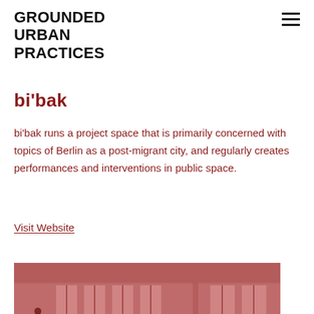GROUNDED URBAN PRACTICES
bi'bak
bi'bak runs a project space that is primarily concerned with topics of Berlin as a post-migrant city, and regularly creates performances and interventions in public space.
Visit Website
[Figure (photo): Interior of a large hall or community space with people sitting on the floor on mats, engaged in a group activity. Large windows along the walls let in natural light. The image has a reddish/sepia tint.]